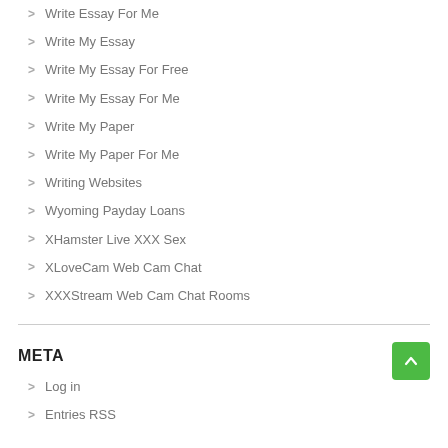Write Essay For Me
Write My Essay
Write My Essay For Free
Write My Essay For Me
Write My Paper
Write My Paper For Me
Writing Websites
Wyoming Payday Loans
XHamster Live XXX Sex
XLoveCam Web Cam Chat
XXXStream Web Cam Chat Rooms
META
Log in
Entries RSS